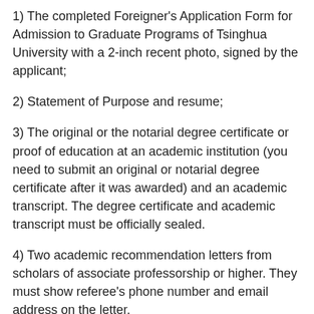1) The completed Foreigner's Application Form for Admission to Graduate Programs of Tsinghua University with a 2-inch recent photo, signed by the applicant;
2) Statement of Purpose and resume;
3) The original or the notarial degree certificate or proof of education at an academic institution (you need to submit an original or notarial degree certificate after it was awarded) and an academic transcript. The degree certificate and academic transcript must be officially sealed.
4) Two academic recommendation letters from scholars of associate professorship or higher. They must show referee's phone number and email address on the letter.
5) For non-English speaking students, please provide